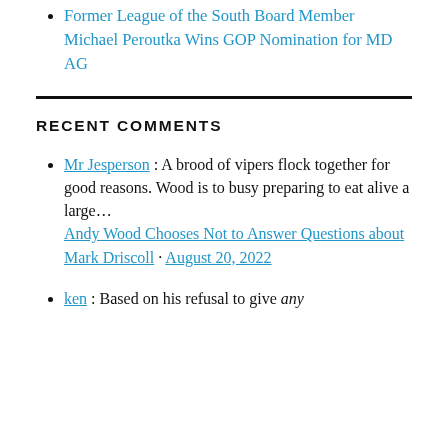Former League of the South Board Member Michael Peroutka Wins GOP Nomination for MD AG
RECENT COMMENTS
Mr Jesperson : A brood of vipers flock together for good reasons. Wood is to busy preparing to eat alive a large… Andy Wood Chooses Not to Answer Questions about Mark Driscoll · August 20, 2022
ken : Based on his refusal to give any